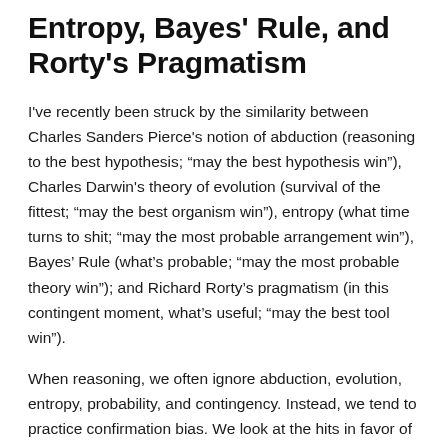Entropy, Bayes' Rule, and Rorty's Pragmatism
I've recently been struck by the similarity between Charles Sanders Pierce's notion of abduction (reasoning to the best hypothesis; “may the best hypothesis win”), Charles Darwin's theory of evolution (survival of the fittest; “may the best organism win”), entropy (what time turns to shit; “may the most probable arrangement win”), Bayes’ Rule (what’s probable; “may the most probable theory win”); and Richard Rorty’s pragmatism (in this contingent moment, what’s useful; “may the best tool win”).
When reasoning, we often ignore abduction, evolution, entropy, probability, and contingency. Instead, we tend to practice confirmation bias. We look at the hits in favor of